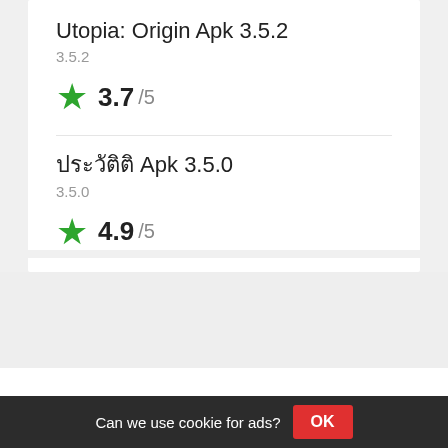Utopia: Origin Apk 3.5.2
3.5.2
3.7 /5
ประวัติ Apk 3.5.0
3.5.0
4.9 /5
Customer Service
Can we use cookie for ads? OK